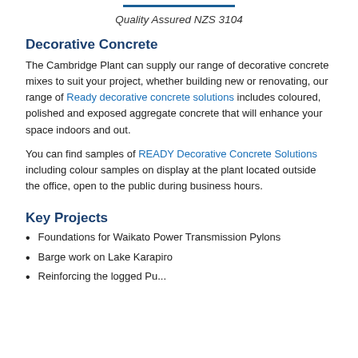Quality Assured NZS 3104
Decorative Concrete
The Cambridge Plant can supply our range of decorative concrete mixes to suit your project, whether building new or renovating, our range of Ready decorative concrete solutions includes coloured, polished and exposed aggregate concrete that will enhance your space indoors and out.
You can find samples of READY Decorative Concrete Solutions including colour samples on display at the plant located outside the office, open to the public during business hours.
Key Projects
Foundations for Waikato Power Transmission Pylons
Barge work on Lake Karapiro
Reinforcing the logged Pu...